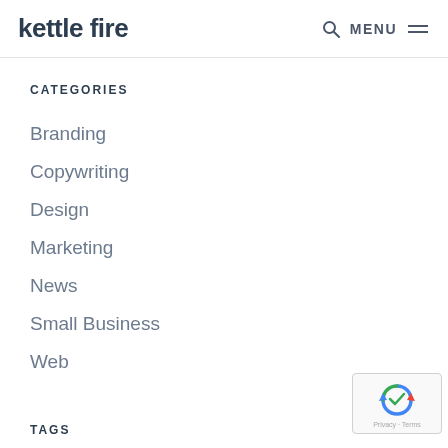kettle fire | MENU
CATEGORIES
Branding
Copywriting
Design
Marketing
News
Small Business
Web
TAGS
[Figure (logo): reCAPTCHA badge with Google logo and Privacy · Terms text]